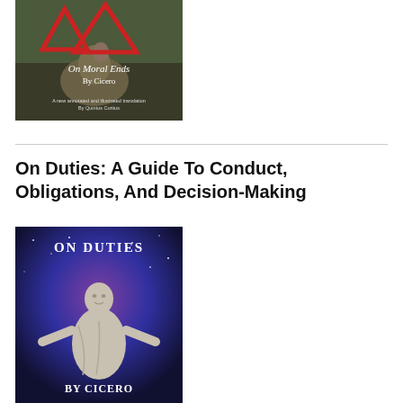[Figure (illustration): Book cover of 'On Moral Ends By Cicero' — a new annotated and illustrated translation by Quintus Curtius. Image shows a robed figure with red triangles against an outdoor backdrop. Text reads: 'On Moral Ends By Cicero' and 'A new annotated and illustrated translation By Quintus Curtius']
On Duties: A Guide To Conduct, Obligations, And Decision-Making
[Figure (illustration): Book cover of 'On Duties by Cicero' showing a marble statue of Cicero with arms outstretched against a purple/blue galaxy background. Text reads 'ON DUTIES' at top and 'BY CICERO' at bottom.]